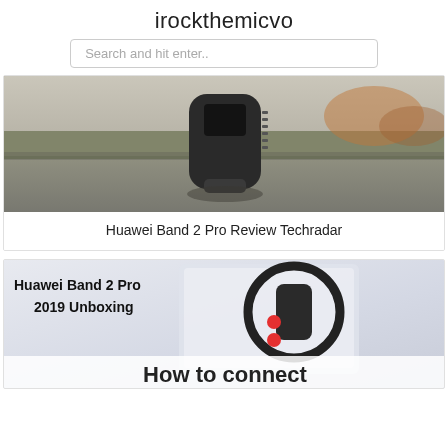irockthemicvo
Search and hit enter..
[Figure (photo): Photo of a Huawei fitness band/smartwatch lying on a concrete surface outdoors, with grass and fall foliage in the background.]
Huawei Band 2 Pro Review Techradar
[Figure (photo): Thumbnail image with bold text 'Huawei Band 2 Pro 2019 Unboxing' on the left and a fitness band in packaging on the right, with 'How to connect' text at the bottom.]